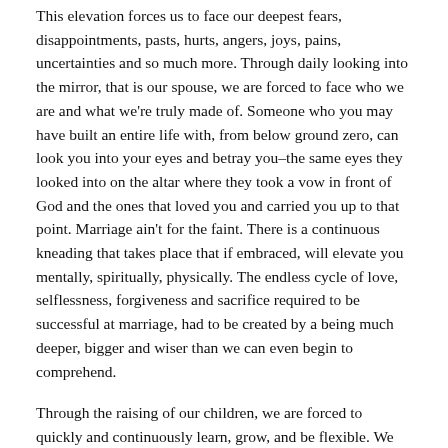This elevation forces us to face our deepest fears, disappointments, pasts, hurts, angers, joys, pains, uncertainties and so much more. Through daily looking into the mirror, that is our spouse, we are forced to face who we are and what we're truly made of. Someone who you may have built an entire life with, from below ground zero, can look you into your eyes and betray you–the same eyes they looked into on the altar where they took a vow in front of God and the ones that loved you and carried you up to that point. Marriage ain't for the faint. There is a continuous kneading that takes place that if embraced, will elevate you mentally, spiritually, physically. The endless cycle of love, selflessness, forgiveness and sacrifice required to be successful at marriage, had to be created by a being much deeper, bigger and wiser than we can even begin to comprehend.
Through the raising of our children, we are forced to quickly and continuously learn, grow, and be flexible. We